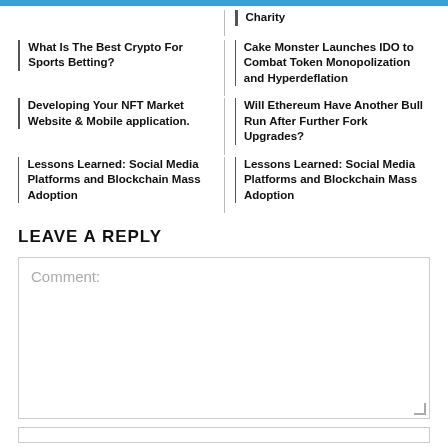Charity
What Is The Best Crypto For Sports Betting?
Cake Monster Launches IDO to Combat Token Monopolization and Hyperdeflation
Developing Your NFT Market Website & Mobile application
Will Ethereum Have Another Bull Run After Further Fork Upgrades?
Lessons Learned: Social Media Platforms and Blockchain Mass Adoption
Lessons Learned: Social Media Platforms and Blockchain Mass Adoption
LEAVE A REPLY